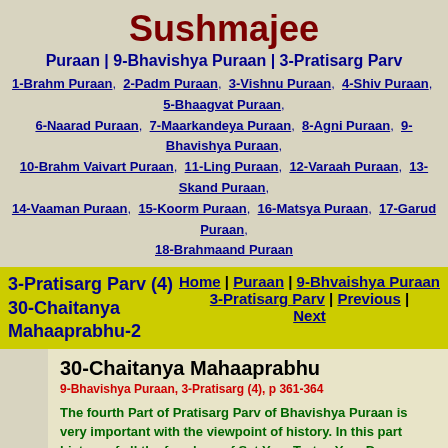Sushmajee
Puraan | 9-Bhavishya Puraan | 3-Pratisarg Parv
1-Brahm Puraan, 2-Padm Puraan, 3-Vishnu Puraan, 4-Shiv Puraan, 5-Bhaagvat Puraan, 6-Naarad Puraan, 7-Maarkandeya Puraan, 8-Agni Puraan, 9-Bhavishya Puraan, 10-Brahm Vaivart Puraan, 11-Ling Puraan, 12-Varaah Puraan, 13-Skand Puraan, 14-Vaaman Puraan, 15-Koorm Puraan, 16-Matsya Puraan, 17-Garud Puraan, 18-Brahmaand Puraan
3-Pratisarg Parv (4)
30-Chaitanya Mahaaprabhu-2
Home | Puraan | 9-Bhvaishya Puraan
3-Pratisarg Parv | Previous | Next
30-Chaitanya Mahaaprabhu
9-Bhavishya Puraan, 3-Pratisarg (4), p 361-364
The fourth Part of Pratisarg Parv of Bhavishya Puraan is very important with the viewpoint of history. In this part history of all the four legs of Sat Yug, Tretaa Yug, Dwaapar Yug and Kali Yug is given. Besides, the history of the previous births of many Aachaarya, saints, Bhakt poets is also given. They are said to be the Avtaars of 12